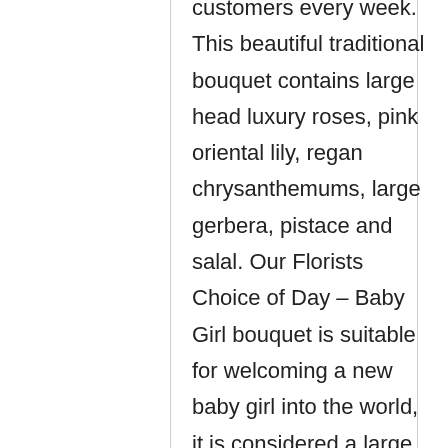customers every week. This beautiful traditional bouquet contains large head luxury roses, pink oriental lily, regan chrysanthemums, large gerbera, pistace and salal. Our Florists Choice of Day – Baby Girl bouquet is suitable for welcoming a new baby girl into the world, it is considered a large bouquet. It comes with a FREE eco friendly gift box vase. As a result the giftbox vase mean that this bouquet from Precious Petals arrives to the recipients location already